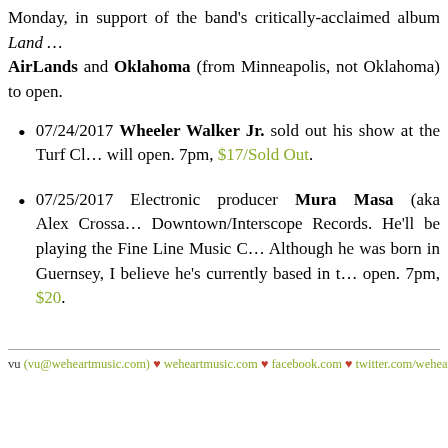Monday, in support of the band's critically-acclaimed album Land ... AirLands and Oklahoma (from Minneapolis, not Oklahoma) to open.
07/24/2017 Wheeler Walker Jr. sold out his show at the Turf Cl... will open. 7pm, $17/Sold Out.
07/25/2017 Electronic producer Mura Masa (aka Alex Crossa... Downtown/Interscope Records. He'll be playing the Fine Line Music C... Although he was born in Guernsey, I believe he's currently based in t... open. 7pm, $20.
vu (vu@weheartmusic.com) ♥ weheartmusic.com ♥ facebook.com ♥ twitter.com/weheart...